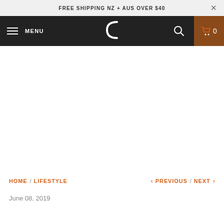FREE SHIPPING NZ + AUS OVER $40
MENU  [logo C]  [search]  0
[Figure (other): Large blank white content area, no image loaded]
HOME / LIFESTYLE   < PREVIOUS / NEXT >
June 08, 2019